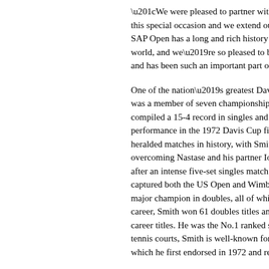“We were pleased to partner with the Interna- this special occasion and we extend our con- SAP Open has a long and rich history in bot- world, and we’re so pleased to be able to re- and has been such an important part of tenn-
One of the nation’s greatest Davis Cup com- was a member of seven championship USA compiled a 15-4 record in singles and a 20- performance in the 1972 Davis Cup final ve- heralded matches in history, with Smith defe- overcoming Nastase and his partner Ion Tiri- after an intense five-set singles match versu- captured both the US Open and Wimbledon major champion in doubles, all of which he w- career, Smith won 61 doubles titles and 39 s- career titles. He was the No.1 ranked single- tennis courts, Smith is well-known for the ico- which he first endorsed in 1972 and remains
Hall of Fame ring ceremonies have already Angeles, and during the annual Hall of Fame Additional International Tennis Hall of Fame around the world in the coming months, incl-